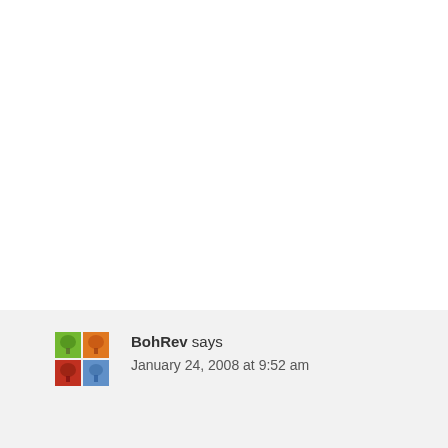BohRev says
January 24, 2008 at 9:52 am